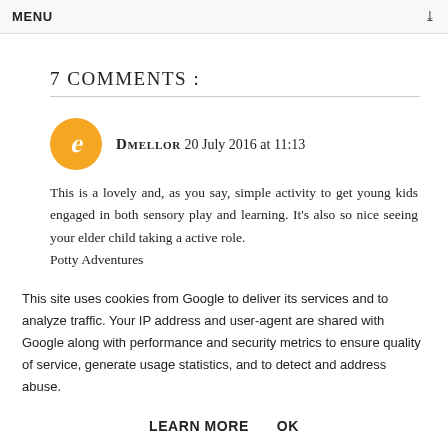MENU
7 COMMENTS :
DMELLOR 20 July 2016 at 11:13

This is a lovely and, as you say, simple activity to get young kids engaged in both sensory play and learning. It's also so nice seeing your elder child taking a active role.
Potty Adventures
#whatevertheweather
This site uses cookies from Google to deliver its services and to analyze traffic. Your IP address and user-agent are shared with Google along with performance and security metrics to ensure quality of service, generate usage statistics, and to detect and address abuse.
LEARN MORE    OK